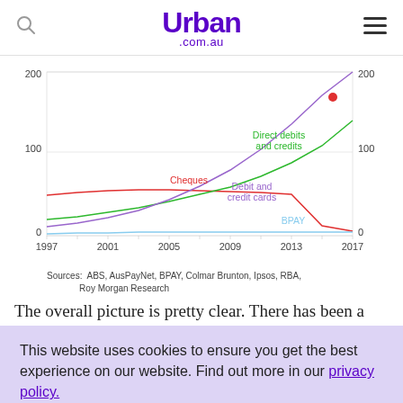Urban .com.au
[Figure (continuous-plot): Line chart showing payment method trends in Australia from 1997 to 2017. Four lines: 'Debit and credit cards' (purple, rising steeply to ~230), 'Direct debits and credits' (green, rising moderately to ~145), 'Cheques' (red, declining from ~50 to near 0), 'BPAY' (light blue, flat near 0-5). Y-axis: 0-200 on both sides. X-axis: 1997 to 2017. A red dot at ~2017, ~175 on the purple line.]
Sources: ABS, AusPayNet, BPAY, Colmar Brunton, Ipsos, RBA, Roy Morgan Research
The overall picture is pretty clear. There has been a
This website uses cookies to ensure you get the best experience on our website. Find out more in our privacy policy.
Accept Cookies